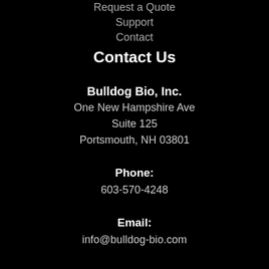Request a Quote
Support
Contact
Contact Us
Bulldog Bio, Inc.
One New Hampshire Ave
Suite 125
Portsmouth, NH 03801
Phone:
603-570-4248
Email:
info@bulldog-bio.com